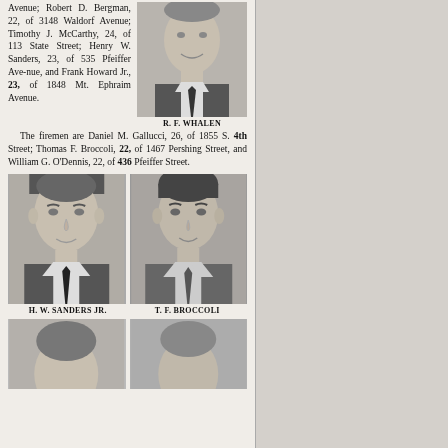Avenue; Robert D. Bergman, 22, of 3148 Waldorf Avenue; Timothy J. McCarthy, 24, of 113 State Street; Henry W. Sanders, 23, of 535 Pfeiffer Avenue, and Frank Howard Jr., 23, of 1848 Mt. Ephraim Avenue.
[Figure (photo): Portrait photo of R. F. Whalen, a man in a suit and tie]
R. F. WHALEN
The firemen are Daniel M. Gallucci, 26, of 1855 S. 4th Street; Thomas F. Broccoli, 22, of 1467 Pershing Street, and William G. O'Dennis, 22, of 436 Pfeiffer Street.
[Figure (photo): Portrait photos of H. W. Sanders Jr. and T. F. Broccoli, two men in suits]
H. W. SANDERS JR.   T. F. BROCCOLI
[Figure (photo): Partial portrait photos at bottom of page, two men]